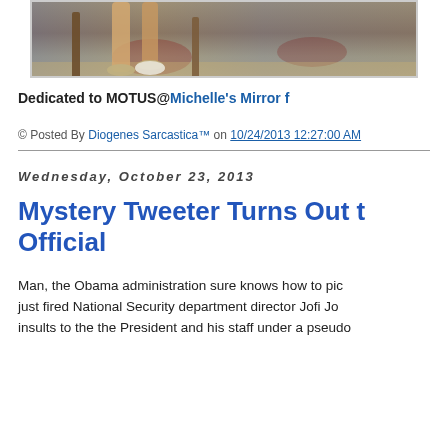[Figure (photo): Cropped photo showing legs and feet near a decorative rug, partially visible]
Dedicated to MOTUS@Michelle's Mirror f
© Posted By Diogenes Sarcastica™ on 10/24/2013 12:27:00 AM
Wednesday, October 23, 2013
Mystery Tweeter Turns Out t Official
Man, the Obama administration sure knows how to pic just fired National Security department director Jofi Jo insults to the the President and his staff under a pseudo